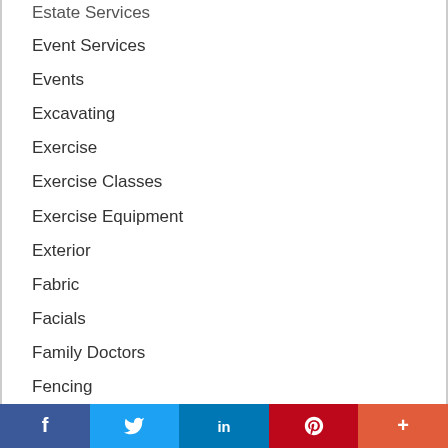Estate Services
Event Services
Events
Excavating
Exercise
Exercise Classes
Exercise Equipment
Exterior
Fabric
Facials
Family Doctors
Fencing
Financial Consulting
Financing
[Figure (infographic): Social sharing bar with Facebook, Twitter, LinkedIn, Pinterest, and More buttons]